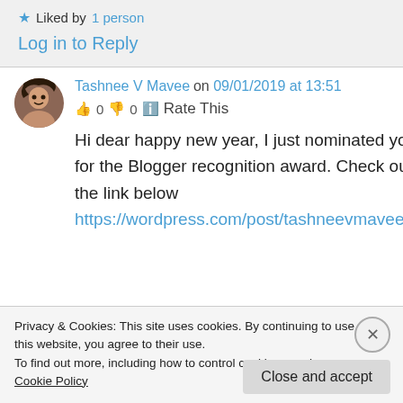★ Liked by 1 person
Log in to Reply
Tashnee V Mavee on 09/01/2019 at 13:51
👍 0 👎 0 ℹ Rate This
Hi dear happy new year, I just nominated you for the Blogger recognition award. Check out the link below
https://wordpress.com/post/tashneevmavee.wor
Privacy & Cookies: This site uses cookies. By continuing to use this website, you agree to their use.
To find out more, including how to control cookies, see here: Cookie Policy
Close and accept